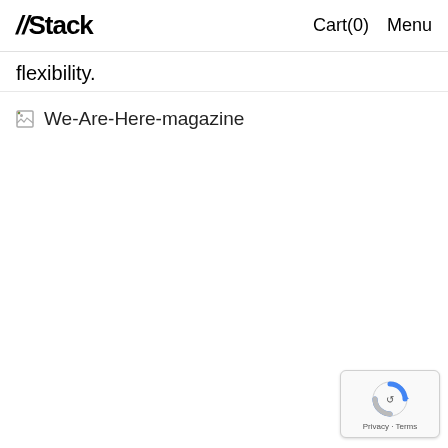//Stack  Cart(0)  Menu
flexibility.
[Figure (other): Broken image icon with alt text 'We-Are-Here-magazine']
[Figure (other): Google reCAPTCHA badge with Privacy and Terms links]